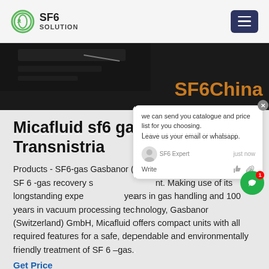SF6 SOLUTION
[Figure (photo): Dark hero banner image with SF6China text in orange on the right side]
Micafluid sf6 gas valve Transnistria
Products - SF6-gas Gasbanor (Switzerland) GmbH, Micafluid. SF 6 -gas recovery solution equipment. Making use of its longstanding expertise of 40 years in gas handling and 100 years in vacuum processing technology, Gasbanor (Switzerland) GmbH, Micafluid offers compact units with all required features for a safe, dependable and environmentally friendly treatment of SF 6 –gas.
Get Price